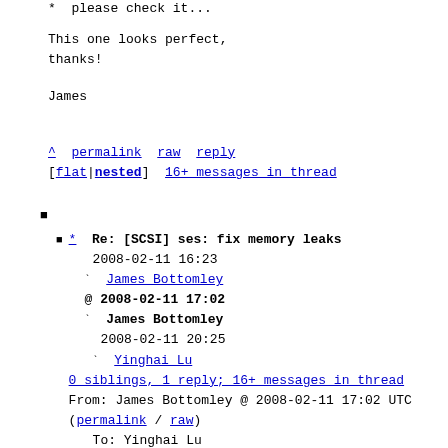please check it...
This one looks perfect,
thanks!
James
^ permalink raw reply
[flat|nested] 16+ messages in thread
* Re: [SCSI] ses: fix memory leaks
2008-02-11 16:23
` James Bottomley
@ 2008-02-11 17:02
` James Bottomley
2008-02-11 20:25
` Yinghai Lu
0 siblings, 1 reply; 16+ messages in thread
From: James Bottomley @ 2008-02-11 17:02 UTC (permalink / raw)
To: Yinghai Lu
Cc: Andrew Morton, Linux Kernel Mailing